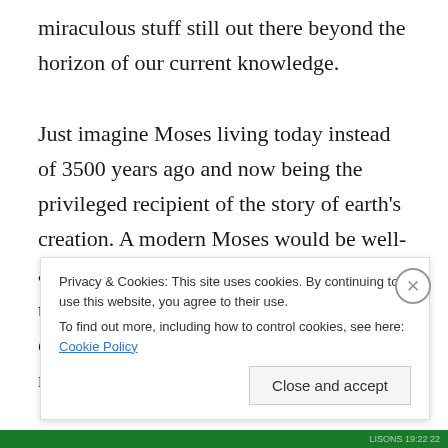miraculous stuff still out there beyond the horizon of our current knowledge.

Just imagine Moses living today instead of 3500 years ago and now being the privileged recipient of the story of earth's creation. A modern Moses would be well-aware of the overwhelming evidence that the earth is four and a half billion years old, would have already studied the fossil record of humankind, and
Privacy & Cookies: This site uses cookies. By continuing to use this website, you agree to their use.
To find out more, including how to control cookies, see here: Cookie Policy

Close and accept